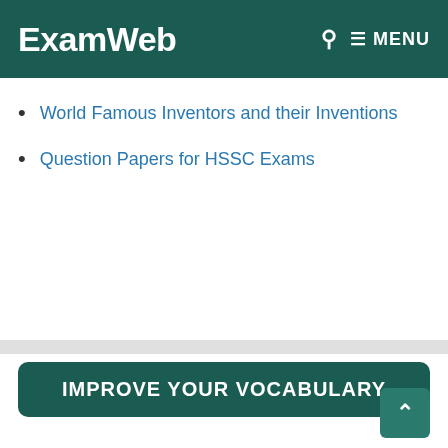ExamWeb  🔍  ≡ MENU
World Famous Inventors and their Inventions
Question Papers for HSSC Exams
IMPROVE YOUR VOCABULARY
One Word Substitutions for Competitive Exams
Synonyms and Antonyms
Learn Idioms and Phrases with Examples
Important Spellings for Spelling Tests
Important Abbreviations and their Full Forms